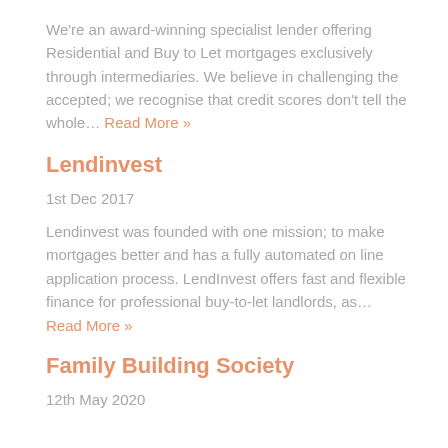We're an award-winning specialist lender offering Residential and Buy to Let mortgages exclusively through intermediaries. We believe in challenging the accepted; we recognise that credit scores don't tell the whole... Read More »
Lendinvest
1st Dec 2017
Lendinvest was founded with one mission; to make mortgages better and has a fully automated on line application process. LendInvest offers fast and flexible finance for professional buy-to-let landlords, as... Read More »
Family Building Society
12th May 2020